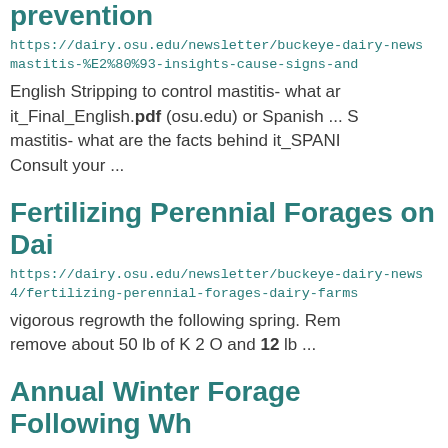prevention
https://dairy.osu.edu/newsletter/buckeye-dairy-news mastitis-%E2%80%93-insights-cause-signs-and
English Stripping to control mastitis- what ar it_Final_English.pdf (osu.edu) or Spanish ... S mastitis- what are the facts behind it_SPANI Consult your ...
Fertilizing Perennial Forages on Dai
https://dairy.osu.edu/newsletter/buckeye-dairy-news 4/fertilizing-perennial-forages-dairy-farms
vigorous regrowth the following spring. Rem remove about 50 lb of K 2 O and 12 lb ...
Annual Winter Forage Following Wh
https://dairy.osu.edu/newsletter/buckeye-dairy-n...